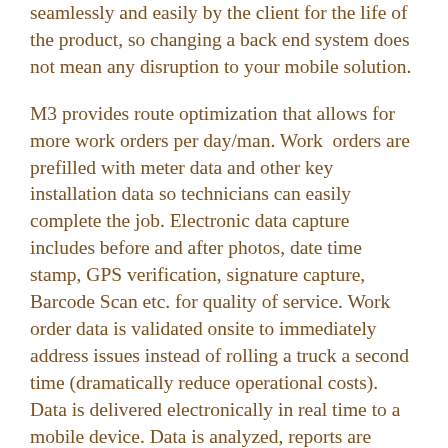seamlessly and easily by the client for the life of the product, so changing a back end system does not mean any disruption to your mobile solution.
M3 provides route optimization that allows for more work orders per day/man. Work orders are prefilled with meter data and other key installation data so technicians can easily complete the job. Electronic data capture includes before and after photos, date time stamp, GPS verification, signature capture, Barcode Scan etc. for quality of service. Work order data is validated onsite to immediately address issues instead of rolling a truck a second time (dramatically reduce operational costs). Data is delivered electronically in real time to a mobile device. Data is analyzed, reports are created and trending is identified so program changes may be recommended and executed in near real time.